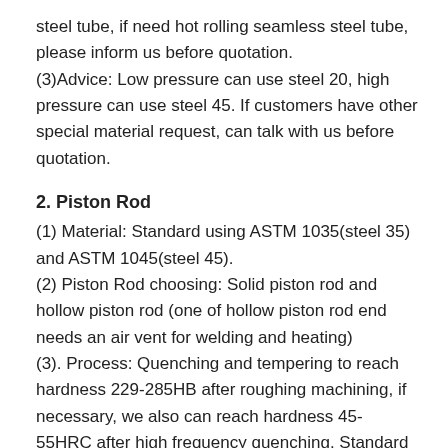steel tube, if need hot rolling seamless steel tube, please inform us before quotation.
(3)Advice: Low pressure can use steel 20, high pressure can use steel 45. If customers have other special material request, can talk with us before quotation.
2. Piston Rod
(1) Material: Standard using ASTM 1035(steel 35) and ASTM 1045(steel 45).
(2) Piston Rod choosing: Solid piston rod and hollow piston rod (one of hollow piston rod end needs an air vent for welding and heating)
(3). Process: Quenching and tempering to reach hardness 229-285HB after roughing machining, if necessary, we also can reach hardness 45-55HRC after high frequency quenching. Standard chrome plated thickness is 25μm(if need more thickness, please inform us before quotation).